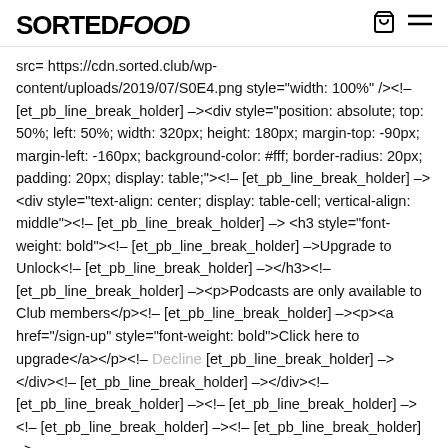SORTED FOOD
src= https://cdn.sorted.club/wp-content/uploads/2019/07/S0E4.png style="width: 100%" /><!-- [et_pb_line_break_holder] --><div style="position: absolute; top: 50%; left: 50%; width: 320px; height: 180px; margin-top: -90px; margin-left: -160px; background-color: #fff; border-radius: 20px; padding: 20px; display: table;"><!-- [et_pb_line_break_holder] --><div style="text-align: center; display: table-cell; vertical-align: middle"><!-- [et_pb_line_break_holder] --> <h3 style="font-weight: bold"><!-- [et_pb_line_break_holder] -->Upgrade to Unlock<!-- [et_pb_line_break_holder] --></h3><!-- [et_pb_line_break_holder] --><p>Podcasts are only available to Club members</p><!-- [et_pb_line_break_holder] --><p><a href="/sign-up" style="font-weight: bold">Click here to upgrade</a></p><!-- [et_pb_line_break_holder] --></div><!-- [et_pb_line_break_holder] --></div><!-- [et_pb_line_break_holder] --><!-- [et_pb_line_break_holder] --><!-- [et_pb_line_break_holder] -->